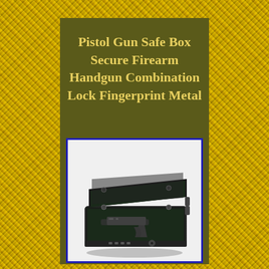[Figure (illustration): Gold/yellow metallic textured background covering the full page behind the central panel]
Pistol Gun Safe Box Secure Firearm Handgun Combination Lock Fingerprint Metal
[Figure (photo): Photo of a black metal pistol gun safe box with the lid open, showing a dark foam interior with a handgun inside, and a fingerprint/combination lock panel on the front face. The safe is displayed on a white background.]